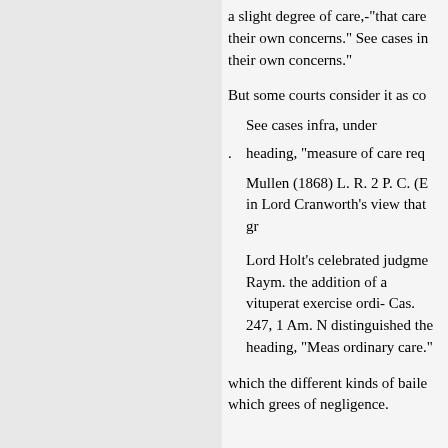a slight degree of care,-"that care their own concerns." See cases in their own concerns."
But some courts consider it as co
See cases infra, under
heading, "measure of care req
Mullen (1868) L. R. 2 P. C. (E in Lord Cranworth's view that gr
Lord Holt's celebrated judgme Raym. the addition of a vituperat exercise ordi- Cas. 247, 1 Am. N distinguished the heading, "Meas ordinary care."
which the different kinds of baile which grees of negligence.
tous bailee has been called 'gross
ligence.' This term has been used cases
from that period, without objecti